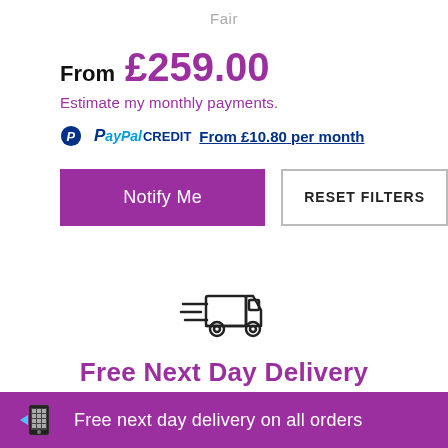Fair
From £259.00
Estimate my monthly payments.
PayPal CREDIT From £10.80 per month
Notify Me
RESET FILTERS
[Figure (illustration): Delivery truck icon with speed lines]
Free Next Day Delivery
Order before 2pm
Free next day delivery on all orders